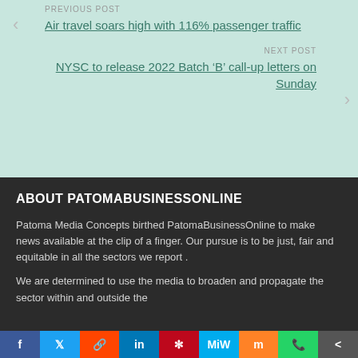PREVIOUS POST
Air travel soars high with 116% passenger traffic
NEXT POST
NYSC to release 2022 Batch ‘B’ call-up letters on Sunday
ABOUT PATOMABUSINESSONLINE
Patoma Media Concepts birthed PatomaBusinessOnline to make news available at the clip of a finger. Our pursue is to be just, fair and equitable in all the sectors we report .
We are determined to use the media to broaden and propagate the sector within and outside the